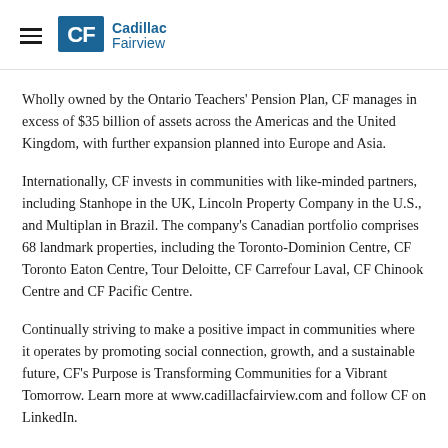CF Cadillac Fairview
Wholly owned by the Ontario Teachers' Pension Plan, CF manages in excess of $35 billion of assets across the Americas and the United Kingdom, with further expansion planned into Europe and Asia.
Internationally, CF invests in communities with like-minded partners, including Stanhope in the UK, Lincoln Property Company in the U.S., and Multiplan in Brazil. The company's Canadian portfolio comprises 68 landmark properties, including the Toronto-Dominion Centre, CF Toronto Eaton Centre, Tour Deloitte, CF Carrefour Laval, CF Chinook Centre and CF Pacific Centre.
Continually striving to make a positive impact in communities where it operates by promoting social connection, growth, and a sustainable future, CF's Purpose is Transforming Communities for a Vibrant Tomorrow. Learn more at www.cadillacfairview.com and follow CF on LinkedIn.